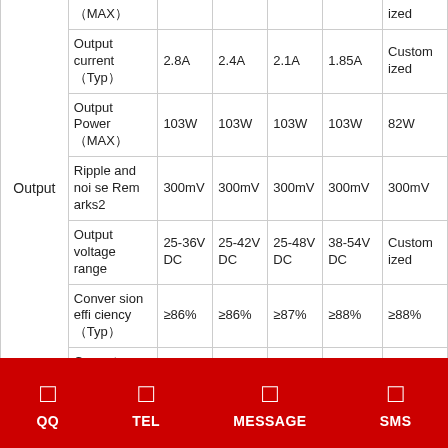|  | Parameter | Value1 | Value2 | Value3 | Value4 | Value5 |
| --- | --- | --- | --- | --- | --- | --- |
|  | （MAX） |  |  |  |  | ized |
|  | Output current（Typ） | 2.8A | 2.4A | 2.1A | 1.85A | Customized |
|  | Output Power（MAX） | 103W | 103W | 103W | 103W | 82W |
|  | Ripple and noise Remarks2 | 300mV | 300mV | 300mV | 300mV | 300mV |
|  | Output voltage range | 25-36V DC | 25-42V DC | 25-48V DC | 38-54V DC | Customized |
| Output | Conversion efficiency（Typ） | ≥86% | ≥86% | ≥87% | ≥88% | ≥88% |
|  | Current |  |  |  |  |  |
QQ   TEL   MESSAGE   SMS